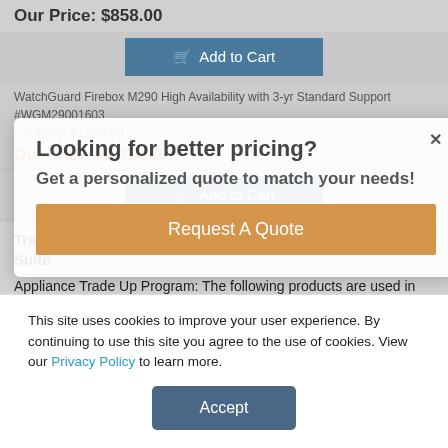Our Price: $858.00
Add to Cart
WatchGuard Firebox M290 High Availability with 3-yr Standard Support
#WGM29001603
List Price: $1,085.00
Our Price: $1,314.30
Add to Cart
Trade up to WatchGuard Firebox M290 with Basic Security Suite
Appliance Trade Up Program: The following products are used in conjunction with the Trade Up Program.
Looking for better pricing?
Get a personalized quote to match your needs!
Request A Quote
This site uses cookies to improve your user experience. By continuing to use this site you agree to the use of cookies. View our Privacy Policy to learn more.
Accept